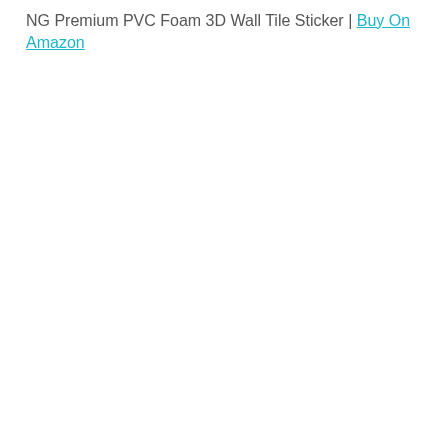NG Premium PVC Foam 3D Wall Tile Sticker | Buy On Amazon